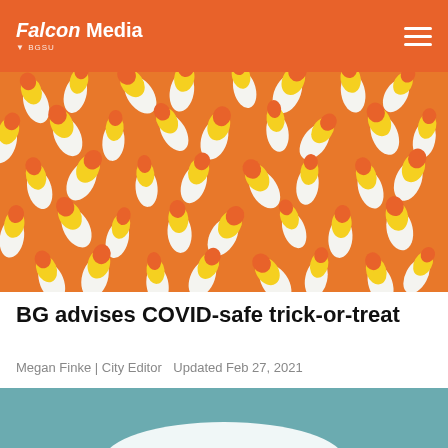Falcon Media
[Figure (photo): Close-up photo of a large pile of candy corn in orange, yellow, and white colors]
BG advises COVID-safe trick-or-treat
Megan Finke | City Editor   Updated Feb 27, 2021
Trick-or-Treat, the annual, candy-collecting evening, is going to look different all through the country.  Read more
[Figure (photo): Partial view of the next article image with a teal/blue-green background showing a white curved shape at the bottom of the page]